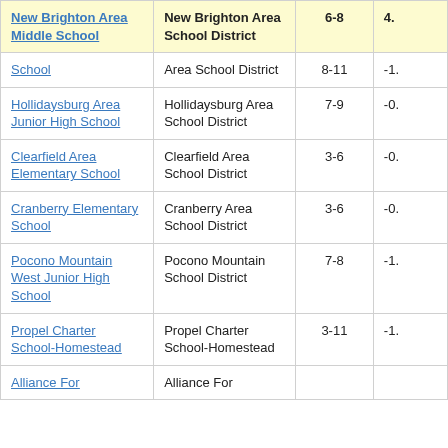| School | District | Grades | Score |
| --- | --- | --- | --- |
| New Brighton Area Middle School | New Brighton Area School District | 6-8 | 4. |
| School | Area School District | 8-11 | -1. |
| Hollidaysburg Area Junior High School | Hollidaysburg Area School District | 7-9 | -0. |
| Clearfield Area Elementary School | Clearfield Area School District | 3-6 | -0. |
| Cranberry Elementary School | Cranberry Area School District | 3-6 | -0. |
| Pocono Mountain West Junior High School | Pocono Mountain School District | 7-8 | -1. |
| Propel Charter School-Homestead | Propel Charter School-Homestead | 3-11 | -1. |
| Alliance For… | Alliance For… |  |  |